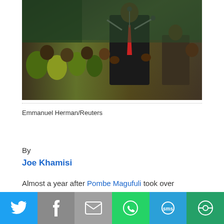[Figure (photo): A man in a dark suit with a red tie speaking at a microphone podium, with a crowd of people in colorful green and yellow clothing visible in the background]
Emmanuel Herman/Reuters
By
Joe Khamisi
Almost a year after Pombe Magufuli took over leadership, questions are arising as to where he is taking Tanzania, one the most respected countries in Africa.